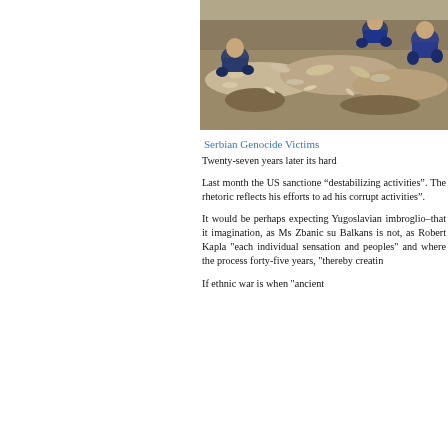[Figure (photo): Workers excavating what appears to be a mass grave site, with human remains visible in the soil. Multiple people in blue clothing are crouching and working at the site.]
Serbian Genocide Victims
Twenty-seven years later its hard
Last month the US sanctioned “destabilizing activities”. The rhetoric reflects his efforts to ad his corrupt activities”.
It would be perhaps expecting Yugoslavian imbroglio–that it imagination, as Ms Zbanic su Balkans is not, as Robert Kapla "each individual sensation and peoples" and where the process forty-five years, "thereby creatin
If ethnic war is when “ancient